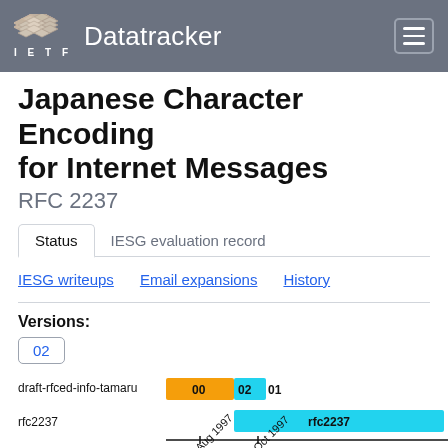IETF Datatracker
Japanese Character Encoding for Internet Messages
RFC 2237
Status | IESG evaluation record
IESG writeups | Email expansions | History
Versions:
02
[Figure (bar-chart): draft-rfced-info-tamaru / rfc2237 versions timeline]